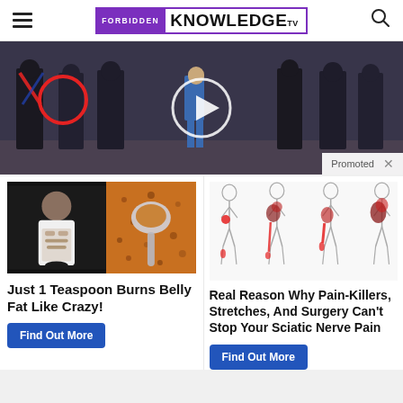FORBIDDEN KNOWLEDGE TV
[Figure (photo): Video thumbnail showing group of people in formal attire, with a red circle overlay and a play button circle in the center. 'Promoted' label with X button in bottom right corner.]
[Figure (photo): Advertisement image split: left side shows a fit woman lifting her shirt to reveal abs, right side shows a spoon with golden/orange spice powder.]
Just 1 Teaspoon Burns Belly Fat Like Crazy!
Find Out More
[Figure (illustration): Medical illustration showing four human body outlines from the side with red highlighted areas indicating sciatic nerve pain pathways along the leg and hip.]
Real Reason Why Pain-Killers, Stretches, And Surgery Can't Stop Your Sciatic Nerve Pain
Find Out More